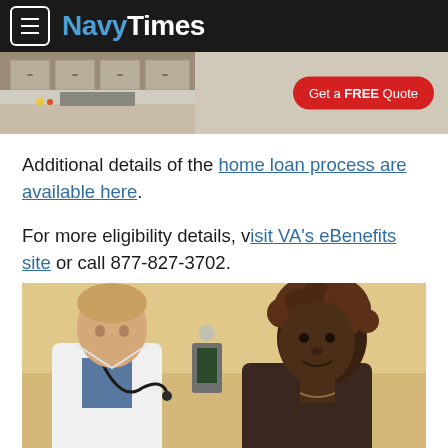NavyTimes
[Figure (photo): Advertisement banner showing a kitchen image on the left and a red 'Get a FREE Quote' button on the right]
Additional details of the home loan process are available here.
For more eligibility details, visit VA's eBenefits site or call 877-827-3702.
[Figure (photo): A doctor (male, white coat, stethoscope) examining a female patient in a medical office setting]